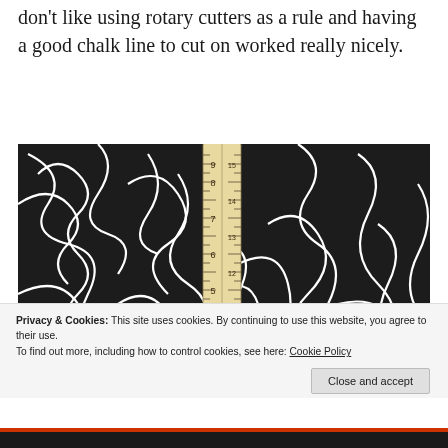don't like using rotary cutters as a rule and having a good chalk line to cut on worked really nicely.
[Figure (photo): Close-up photo of black fabric with a white abstract squiggle/line pattern, with a wooden ruler placed diagonally across the fabric showing measurements.]
Privacy & Cookies: This site uses cookies. By continuing to use this website, you agree to their use.
To find out more, including how to control cookies, see here: Cookie Policy
Close and accept